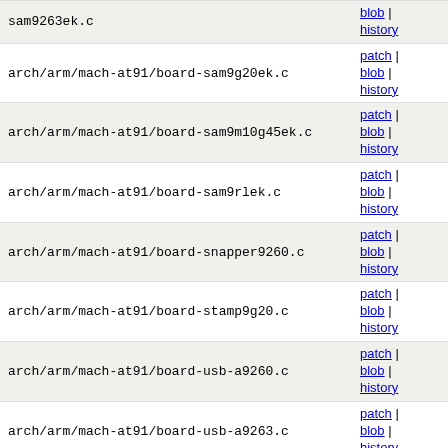| filename | links |
| --- | --- |
| sam9263ek.c | patch | blob | history |
| arch/arm/mach-at91/board-sam9g20ek.c | patch | blob | history |
| arch/arm/mach-at91/board-sam9m10g45ek.c | patch | blob | history |
| arch/arm/mach-at91/board-sam9rlek.c | patch | blob | history |
| arch/arm/mach-at91/board-snapper9260.c | patch | blob | history |
| arch/arm/mach-at91/board-stamp9g20.c | patch | blob | history |
| arch/arm/mach-at91/board-usb-a9260.c | patch | blob | history |
| arch/arm/mach-at91/board-usb-a9263.c | patch | blob | history |
| arch/arm/mach-at91/board-yl-9200.c | patch | blob | history |
| arch/arm/mach-at91/generic.h | patch | blob | history |
| arch/arm/mach-at91/include/mach/at91_dbgu.h | patch | blob | history |
| arch/arm/mach-at91/include/mach/at91cap9.h | patch | blob | history |
| arch/arm/mach-at91/include/mach/at91rm9200.h | patch | blob |